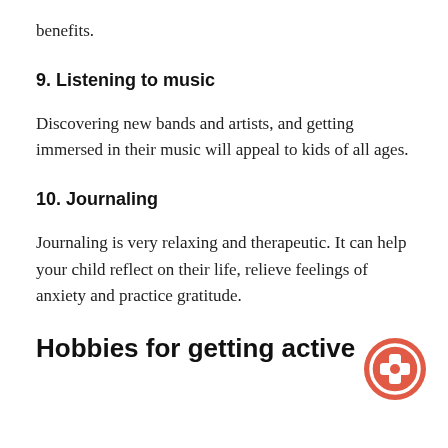benefits.
9. Listening to music
Discovering new bands and artists, and getting immersed in their music will appeal to kids of all ages.
10. Journaling
Journaling is very relaxing and therapeutic. It can help your child reflect on their life, relieve feelings of anxiety and practice gratitude.
Hobbies for getting active
[Figure (other): Circular red icon with a game controller / directional pad symbol in white]